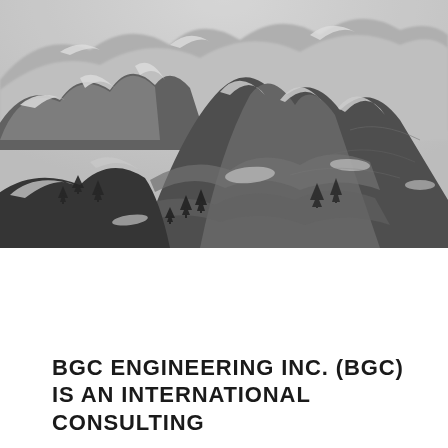[Figure (photo): Aerial photograph of snow-dusted mountain terrain with rocky slopes, scattered evergreen trees, and rugged geological formations]
BGC ENGINEERING INC. (BGC) IS AN INTERNATIONAL CONSULTING